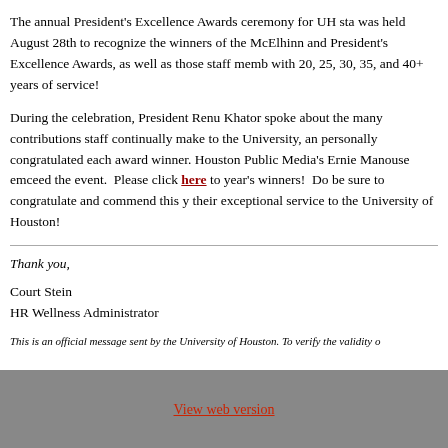The annual President's Excellence Awards ceremony for UH staff was held August 28th to recognize the winners of the McElhinn and President's Excellence Awards, as well as those staff members with 20, 25, 30, 35, and 40+ years of service!
During the celebration, President Renu Khator spoke about the many contributions staff continually make to the University, and personally congratulated each award winner. Houston Public Media's Ernie Manouse emceed the event. Please click here to year's winners! Do be sure to congratulate and commend this year's winners on their exceptional service to the University of Houston!
Thank you,
Court Stein
HR Wellness Administrator
This is an official message sent by the University of Houston. To verify the validity o...
View web version